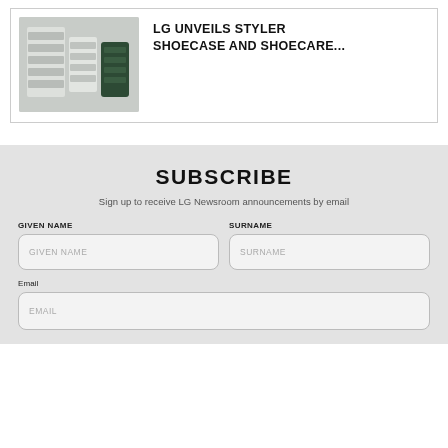[Figure (photo): LG Styler Shoecase and Shoecare product image showing white shelving units and dark green device]
LG UNVEILS STYLER SHOECASE AND SHOECARE...
SUBSCRIBE
Sign up to receive LG Newsroom announcements by email
GIVEN NAME
SURNAME
Email